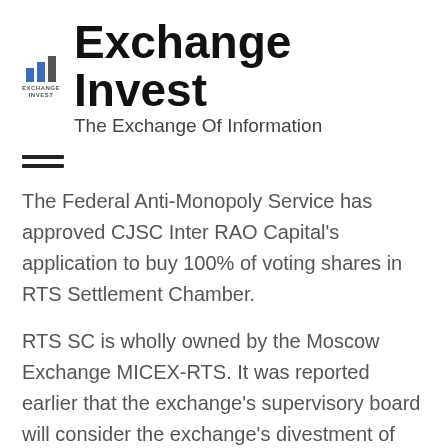[Figure (logo): Exchange Invest logo with bar chart icon and text 'EXCHANGE INVEST']
Exchange Invest
The Exchange Of Information
[Figure (other): Hamburger menu icon (two horizontal lines)]
The Federal Anti-Monopoly Service has approved CJSC Inter RAO Capital's application to buy 100% of voting shares in RTS Settlement Chamber.
RTS SC is wholly owned by the Moscow Exchange MICEX-RTS. It was reported earlier that the exchange's supervisory board will consider the exchange's divestment of CJSC MICEX-IT and CJSC RTS SC on November 20.